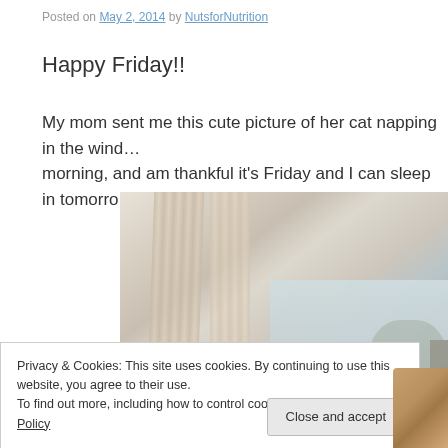Posted on May 2, 2014 by NutsforNutrition
Happy Friday!!
My mom sent me this cute picture of her cat napping in the wind… morning, and am thankful it's Friday and I can sleep in tomorro…
[Figure (photo): A cat napping near a window with curtains, with a view of buildings and trees outside]
Privacy & Cookies: This site uses cookies. By continuing to use this website, you agree to their use.
To find out more, including how to control cookies, see here: Cookie Policy
Close and accept